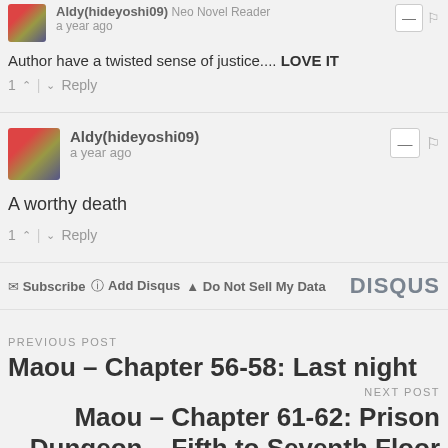Author have a twisted sense of justice.... LOVE IT
1 ^ | v Reply
Aldy(hideyoshi09) a year ago
A worthy death
1 ^ | v Reply
Subscribe  Add Disqus  Do Not Sell My Data  DISQUS
PREVIOUS POST
Maou – Chapter 56-58: Last night
NEXT POST
Maou – Chapter 61-62: Prison Dungeon – Fifth to Seventh Floor